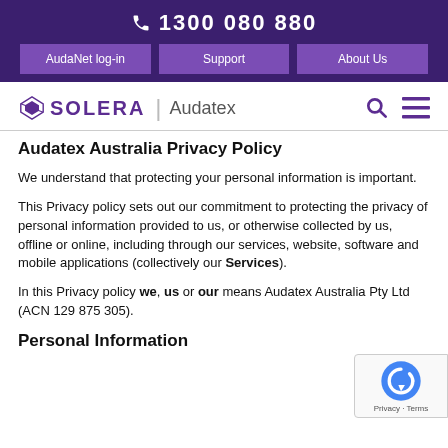1300 080 880
AudaNet log-in | Support | About Us
[Figure (logo): Solera | Audatex logo with search and menu icons]
Audatex Australia Privacy Policy
We understand that protecting your personal information is important.
This Privacy policy sets out our commitment to protecting the privacy of personal information provided to us, or otherwise collected by us, offline or online, including through our services, website, software and mobile applications (collectively our Services).
In this Privacy policy we, us or our means Audatex Australia Pty Ltd (ACN 129 875 305).
Personal Information